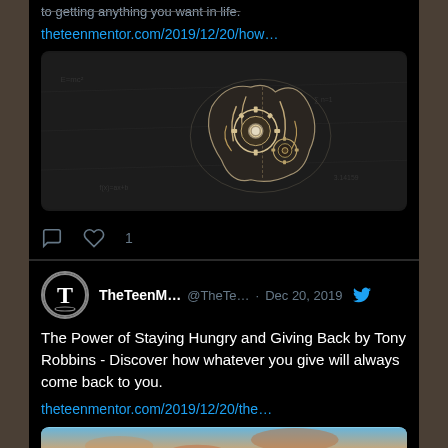to getting anything you want in life. theteenmentor.com/2019/12/20/how…
[Figure (photo): Dark chalkboard background with glowing brain illustration made of gears and mechanical parts]
♡ 1
TheTeenM... @TheTe... · Dec 20, 2019
The Power of Staying Hungry and Giving Back by Tony Robbins - Discover how whatever you give will always come back to you.
theteenmentor.com/2019/12/20/the…
[Figure (photo): Sunset sky with silhouettes of people with raised arms]